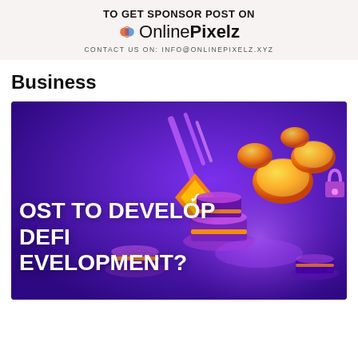[Figure (logo): OnlinePixelz sponsor banner with logo and contact info: TO GET SPONSOR POST ON OnlinePixelz, CONTACT US ON: INFO@ONLINEPIXELZ.XYZ]
Business
[Figure (illustration): DeFi development illustration with purple gradient background, 3D isometric crypto coins, platforms, and partial text reading 'OST TO DEVELOP DEFI EVELOPMENT?']